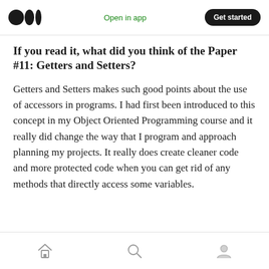Medium logo | Open in app | Get started
If you read it, what did you think of the Paper #11: Getters and Setters?
Getters and Setters makes such good points about the use of accessors in programs. I had first been introduced to this concept in my Object Oriented Programming course and it really did change the way that I program and approach planning my projects. It really does create cleaner code and more protected code when you can get rid of any methods that directly access some variables.
Navigation bar: Home, Search, Profile